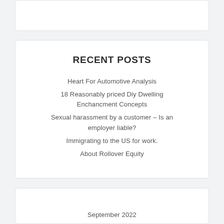RECENT POSTS
Heart For Automotive Analysis
18 Reasonably priced Diy Dwelling Enchancment Concepts
Sexual harassment by a customer – Is an employer liable?
Immigrating to the US for work.
About Rollover Equity
September 2022